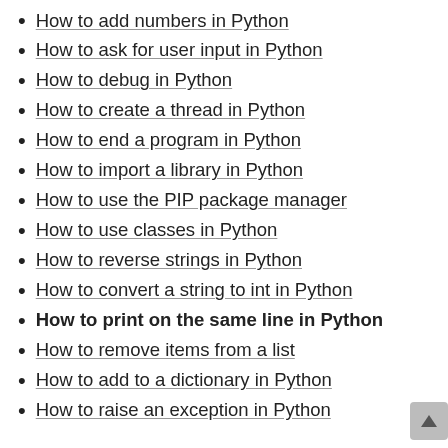How to add numbers in Python
How to ask for user input in Python
How to debug in Python
How to create a thread in Python
How to end a program in Python
How to import a library in Python
How to use the PIP package manager
How to use classes in Python
How to reverse strings in Python
How to convert a string to int in Python
How to print on the same line in Python
How to remove items from a list
How to add to a dictionary in Python
How to raise an exception in Python